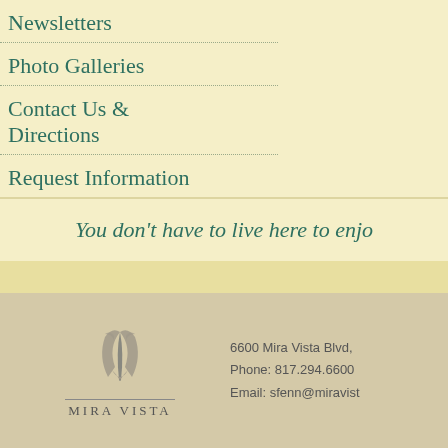Newsletters
Photo Galleries
Contact Us & Directions
Request Information
You don't have to live here to enjoy
[Figure (logo): Mira Vista logo with stylized bird/leaves above text MIRA VISTA]
6600 Mira Vista Blvd,
Phone: 817.294.6600
Email: sfenn@miravist